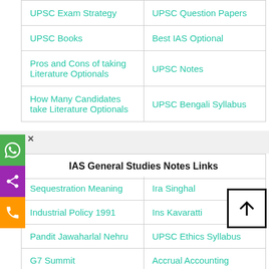| UPSC Exam Strategy | UPSC Question Papers |
| UPSC Books | Best IAS Optional |
| Pros and Cons of taking Literature Optionals | UPSC Notes |
| How Many Candidates take Literature Optionals | UPSC Bengali Syllabus |
IAS General Studies Notes Links
| Sequestration Meaning | Ira Singhal |
| Industrial Policy 1991 | Ins Kavaratti |
| Pandit Jawaharlal Nehru | UPSC Ethics Syllabus |
| G7 Summit | Accrual Accounting |